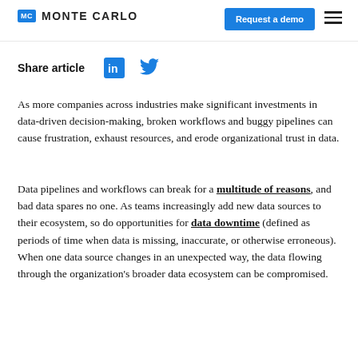MONTE CARLO | Request a demo
Share article
As more companies across industries make significant investments in data-driven decision-making, broken workflows and buggy pipelines can cause frustration, exhaust resources, and erode organizational trust in data.
Data pipelines and workflows can break for a multitude of reasons, and bad data spares no one. As teams increasingly add new data sources to their ecosystem, so do opportunities for data downtime (defined as periods of time when data is missing, inaccurate, or otherwise erroneous). When one data source changes in an unexpected way, the data flowing through the organization's broader data ecosystem can be compromised.